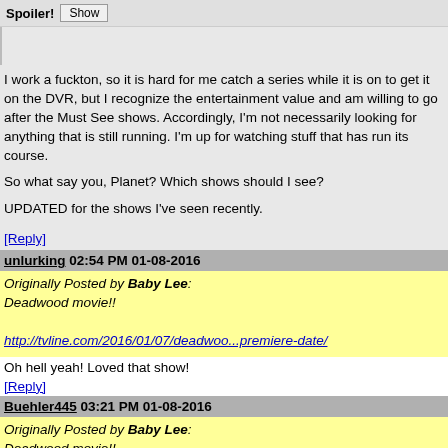Spoiler! [Show]
I work a fuckton, so it is hard for me catch a series while it is on to get it on the DVR, but I recognize the entertainment value and am willing to go after the Must See shows. Accordingly, I'm not necessarily looking for anything that is still running. I'm up for watching stuff that has run its course.

So what say you, Planet? Which shows should I see?

UPDATED for the shows I've seen recently.
[Reply]
unlurking 02:54 PM 01-08-2016
Originally Posted by Baby Lee:
Deadwood movie!!

http://tvline.com/2016/01/07/deadwoo...premiere-date/
Oh hell yeah! Loved that show!
[Reply]
Buehler445 03:21 PM 01-08-2016
Originally Posted by Baby Lee:
Deadwood movie!!

http://tvline.com/2016/01/07/deadwoo...premiere-date/
:-)